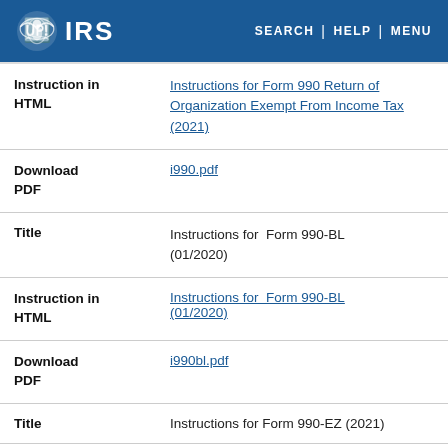IRS | SEARCH | HELP | MENU
| Type | Details |
| --- | --- |
| Instruction in HTML | Instructions for Form 990 Return of Organization Exempt From Income Tax (2021) |
| Download PDF | i990.pdf |
| Title | Instructions for  Form 990-BL (01/2020) |
| Instruction in HTML | Instructions for  Form 990-BL (01/2020) |
| Download PDF | i990bl.pdf |
| Title | Instructions for Form 990-EZ (2021) |